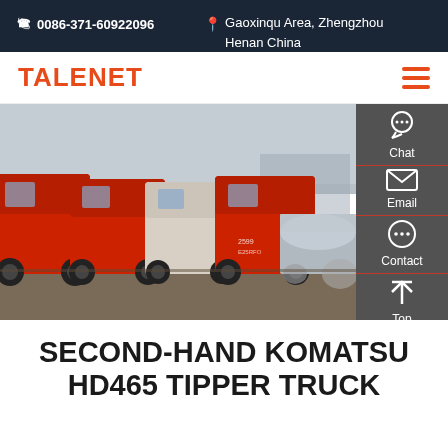☎ 0086-371-60922096  📍 Gaoxinqu Area, Zhengzhou Henan China
TALENET
[Figure (photo): A row of red Sinotruk/Dongfeng trucks parked in a lot, with one white truck visible among them. A tanker truck is visible in the background on the right side. The trucks are large semi-trucks viewed from the front at an angle.]
SECOND-HAND KOMATSU HD465 TIPPER TRUCK